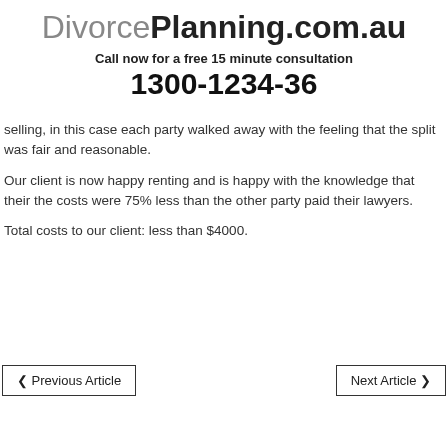DivorcePlanning.com.au
Call now for a free 15 minute consultation
1300-1234-36
selling, in this case each party walked away with the feeling that the split was fair and reasonable.
Our client is now happy renting and is happy with the knowledge that their the costs were 75% less than the other party paid their lawyers.
Total costs to our client: less than $4000.
❮ Previous Article
Next Article ❯